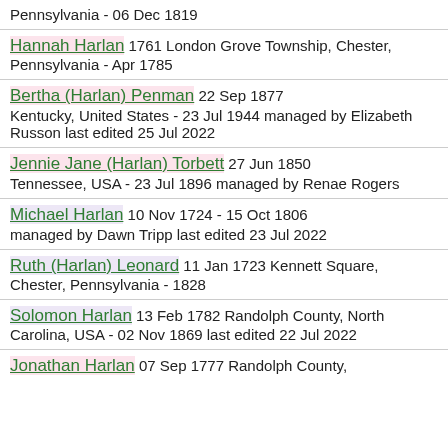Pennsylvania - 06 Dec 1819
Hannah Harlan 1761 London Grove Township, Chester, Pennsylvania - Apr 1785
Bertha (Harlan) Penman 22 Sep 1877 Kentucky, United States - 23 Jul 1944 managed by Elizabeth Russon last edited 25 Jul 2022
Jennie Jane (Harlan) Torbett 27 Jun 1850 Tennessee, USA - 23 Jul 1896 managed by Renae Rogers
Michael Harlan 10 Nov 1724 - 15 Oct 1806 managed by Dawn Tripp last edited 23 Jul 2022
Ruth (Harlan) Leonard 11 Jan 1723 Kennett Square, Chester, Pennsylvania - 1828
Solomon Harlan 13 Feb 1782 Randolph County, North Carolina, USA - 02 Nov 1869 last edited 22 Jul 2022
Jonathan Harlan 07 Sep 1777 Randolph County,